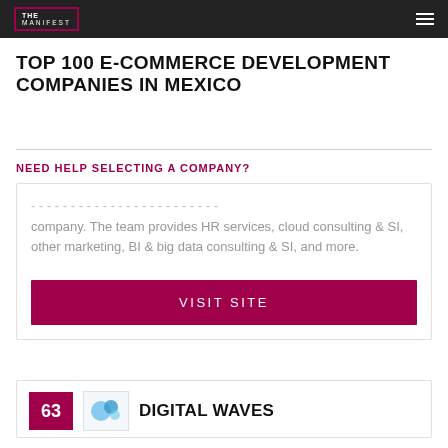THE MANIFEST
TOP 100 E-COMMERCE DEVELOPMENT COMPANIES IN MEXICO
NEED HELP SELECTING A COMPANY?
company. The team provides HR services, cloud consulting & SI, other marketing, BI & big data consulting & SI, and more.
VISIT SITE
63
DIGITAL WAVES